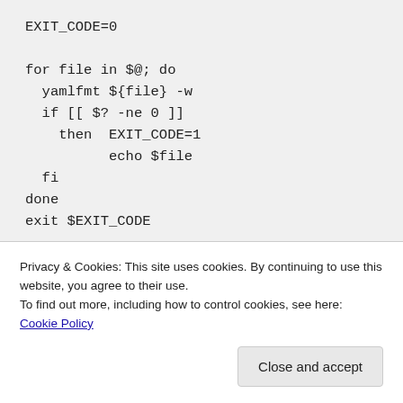EXIT_CODE=0

for file in $@; do
  yamlfmt ${file} -w
  if [[ $? -ne 0 ]]
    then  EXIT_CODE=1
          echo $file
  fi
done
exit $EXIT_CODE
Privacy & Cookies: This site uses cookies. By continuing to use this website, you agree to their use.
To find out more, including how to control cookies, see here: Cookie Policy